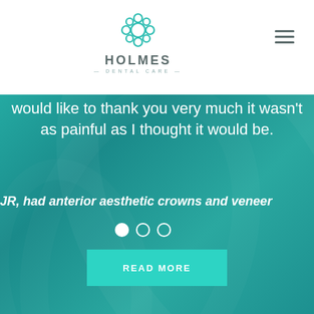[Figure (logo): Holmes Dental Care logo with teal snowflake/flower icon above the text HOLMES DENTAL CARE]
would like to thank you very much it wasn't as painful as I thought it would be.
JR, had anterior aesthetic crowns and veneers
[Figure (other): Carousel navigation dots: one filled white circle and two empty white circle outlines]
READ MORE